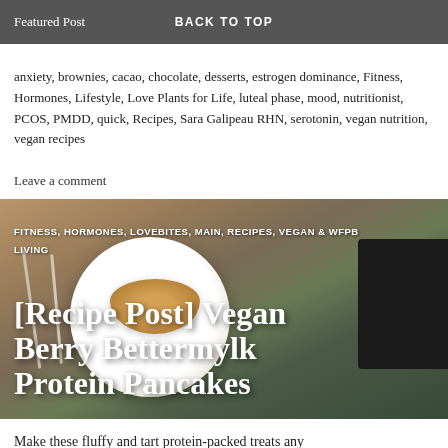Featured Post | BACK TO TOP
anxiety, brownies, cacao, chocolate, desserts, estrogen dominance, Fitness, Hormones, Lifestyle, Love Plants for Life, luteal phase, mood, nutritionist, PCOS, PMDD, quick, Recipes, Sara Galipeau RHN, serotonin, vegan nutrition, vegan recipes
Leave a comment
[Figure (photo): Photo of vegan berry pancakes on a white plate with fork and knife on wooden table, camera in background. Overlay text: FITNESS, HORMONES, LOVEBITES, MAIN, RECIPES, VEGAN & WFPB LIVING and title [Recipe Post] Vegan Berry Bettermylk Protein Pancakes]
Make these fluffy and tart protein-packed treats any